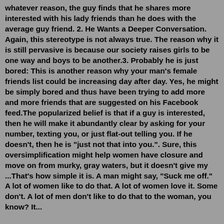whatever reason, the guy finds that he shares more interested with his lady friends than he does with the average guy friend. 2. He Wants a Deeper Conversation. Again, this stereotype is not always true. The reason why it is still pervasive is because our society raises girls to be one way and boys to be another.3. Probably he is just bored: This is another reason why your man's female friends list could be increasing day after day. Yes, he might be simply bored and thus have been trying to add more and more friends that are suggested on his Facebook feed.The popularized belief is that if a guy is interested, then he will make it abundantly clear by asking for your number, texting you, or just flat-out telling you. If he doesn't, then he is "just not that into you.". Sure, this oversimplification might help women have closure and move on from murky, gray waters, but it doesn't give my ...That's how simple it is. A man might say, "Suck me off." A lot of women like to do that. A lot of women love it. Some don't. A lot of men don't like to do that to the woman, you know? It...